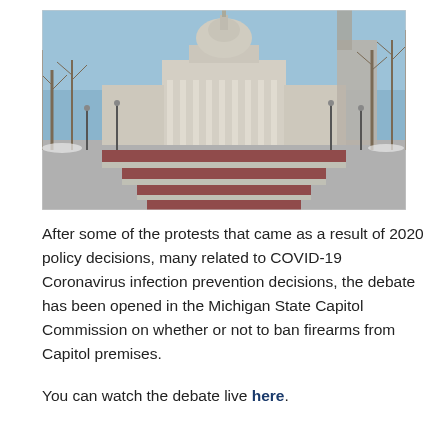[Figure (photo): Exterior view of Michigan State Capitol building from a wide brick-paved plaza. The neoclassical domed building is centered in the background with bare winter trees on both sides. The plaza has alternating dark red and light brick stripes leading toward the building. The sky is clear and blue.]
After some of the protests that came as a result of 2020 policy decisions, many related to COVID-19 Coronavirus infection prevention decisions, the debate has been opened in the Michigan State Capitol Commission on whether or not to ban firearms from Capitol premises.
You can watch the debate live here.